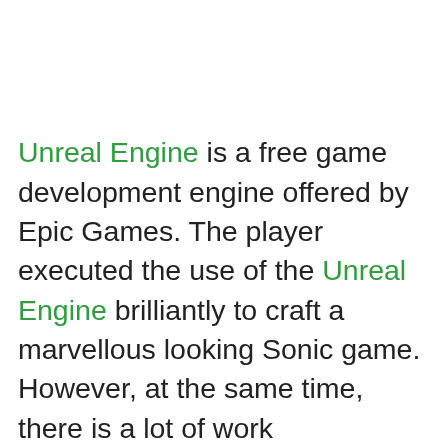Unreal Engine is a free game development engine offered by Epic Games. The player executed the use of the Unreal Engine brilliantly to craft a marvellous looking Sonic game. However, at the same time, there is a lot of work